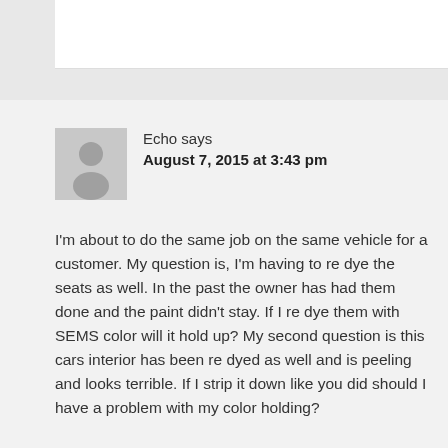[Figure (illustration): Gray placeholder avatar icon showing a generic person silhouette]
Echo says
August 7, 2015 at 3:43 pm
I'm about to do the same job on the same vehicle for a customer. My question is, I'm having to re dye the seats as well. In the past the owner has had them done and the paint didn't stay. If I re dye them with SEMS color will it hold up? My second question is this cars interior has been re dyed as well and is peeling and looks terrible. If I strip it down like you did should I have a problem with my color holding?